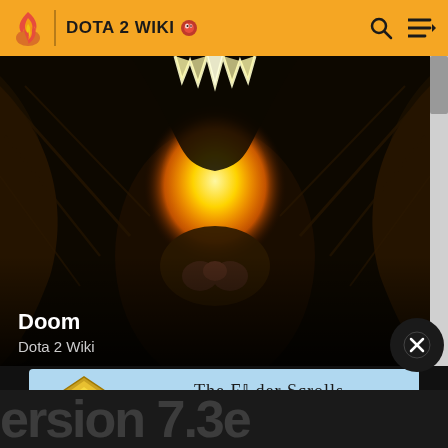DOTA 2 WIKI
[Figure (illustration): Close-up dark fantasy illustration of the Doom hero character from Dota 2, showing a demonic face with glowing golden mouth area, fangs, and dark wings/cloak. The character has an intimidating, monstrous appearance with purple-brown coloring.]
Doom
Dota 2 Wiki
[Figure (screenshot): Advertisement banner for The Elder Scrolls Online showing 'PLAY FREE' promotion. Text reads: *FREE PLAY EVENT AUGUST 16-29. EXCLUDES STEAM PLATFORM © 2022 BETHESDA SOFTWORKS LLC. The Elder Scrolls Online]
ersion 7.3e